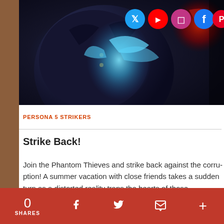[Figure (illustration): Hero image showing Persona 5 Strikers game art — a dark-coated character with blue glowing effects and red accents, with social media icons (Twitter, YouTube, Instagram, Facebook, Pinterest) overlaid in top right]
PERSONA 5 STRIKERS
Strike Back!
Join the Phantom Thieves and strike back against the corru... vacation with close friends takes a sudden turn as a distorte... hearts of those imprisoned at the center of the crisis!
0 SHARES [Facebook] [Twitter] [Email] [More]